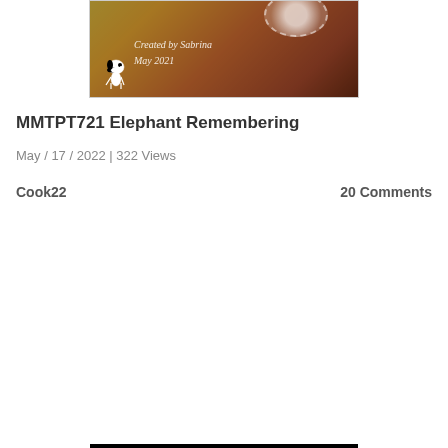[Figure (photo): Handmade greeting card with Snoopy die-cut, doily, colorful background with 'Created by Sabrina May 2021' text]
MMTPT721 Elephant Remembering
May / 17 / 2022 | 322 Views
Cook22
20 Comments
[Figure (photo): Handmade sympathy card with purple-to-orange gradient background, hanging flower/dandelion embellishments, and heartfelt sympathy sentiment in calligraphy]